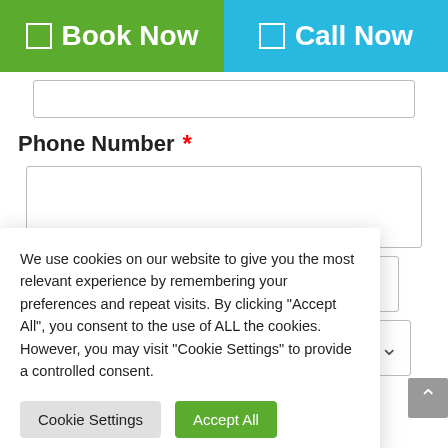☑ Book Now
☑ Call Now
Phone Number *
We use cookies on our website to give you the most relevant experience by remembering your preferences and repeat visits. By clicking "Accept All", you consent to the use of ALL the cookies. However, you may visit "Cookie Settings" to provide a controlled consent.
Cookie Settings
Accept All